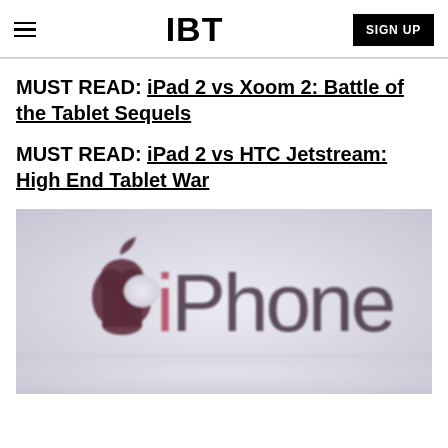IBT | SIGN UP
MUST READ: iPad 2 vs Xoom 2: Battle of the Tablet Sequels
MUST READ: iPad 2 vs HTC Jetstream: High End Tablet War
[Figure (photo): Apple iPhone logo — large Apple logo icon followed by the word 'iPhone' in thin font, on a light purple-grey blurred background]